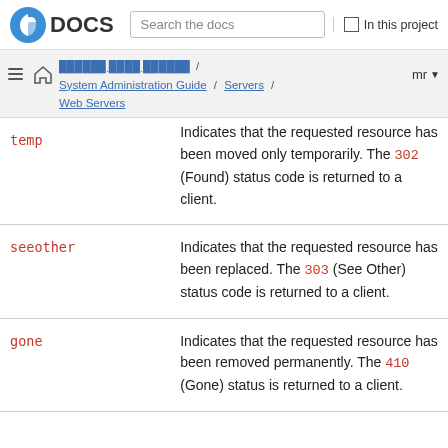Fedora DOCS — Search the docs | In this project
System Administration Guide / Servers / Web Servers — mr
| Option | Description |
| --- | --- |
| temp | Indicates that the requested resource has been moved only temporarily. The 302 (Found) status code is returned to a client. |
| seeother | Indicates that the requested resource has been replaced. The 303 (See Other) status code is returned to a client. |
| gone | Indicates that the requested resource has been removed permanently. The 410 (Gone) status is returned to a client. |